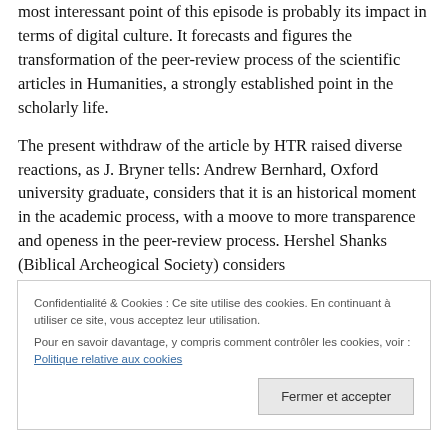most interessant point of this episode is probably its impact in terms of digital culture. It forecasts and figures the transformation of the peer-review process of the scientific articles in Humanities, a strongly established point in the scholarly life.
The present withdraw of the article by HTR raised diverse reactions, as J. Bryner tells: Andrew Bernhard, Oxford university graduate, considers that it is an historical moment in the academic process, with a moove to more transparence and openess in the peer-review process. Hershel Shanks (Biblical Archeogical Society) considers
Confidentialité & Cookies : Ce site utilise des cookies. En continuant à utiliser ce site, vous acceptez leur utilisation.
Pour en savoir davantage, y compris comment contrôler les cookies, voir :
Politique relative aux cookies
Fermer et accepter